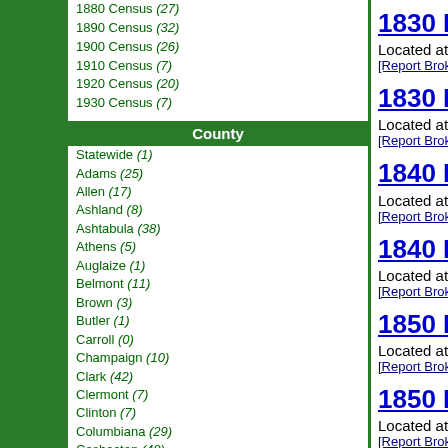1880 Census (27)
1890 Census (32)
1900 Census (26)
1910 Census (7)
1920 Census (20)
1930 Census (7)
County
Statewide (1)
Adams (25)
Allen (17)
Ashland (8)
Ashtabula (38)
Athens (5)
Auglaize (1)
Belmont (11)
Brown (3)
Butler (1)
Carroll (0)
Champaign (10)
Clark (42)
Clermont (7)
Clinton (7)
Columbiana (29)
Coshocton (48)
Crawford (2)
Cuyahoga (13)
Darke (13)
Defiance (0)
1830 Federal Census - Located at The USGenWeb Census Project [Report Broken Link]
1830 Federal Census - Located at USGenWeb Archives: Lawrence Co., [Report Broken Link]
1840 Federal Census - Located at USGenWeb Archives: Lawrence Co., [Report Broken Link]
1840 Federal Census - Located at USGenWeb Census Project [Report Broken Link]
1850 Federal Census - Mortality Schedule - Located at USGenWeb Archives: Lawrence Co., [Report Broken Link]
1850 Federal Census - Mortality Schedule - Located at Lawrence Co. OHGenWeb [Report Broken Link]
1850 Federal Census - Mortality Schedule - Located at The Lawrence Register [Report Broken Link]